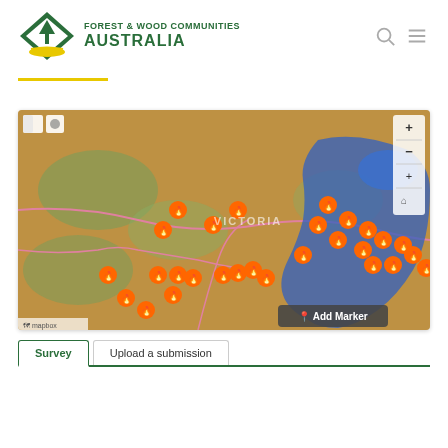[Figure (logo): Forest & Wood Communities Australia logo with green diamond tree shape and yellow landscape swoosh]
[Figure (map): Interactive satellite map of Victoria, Australia showing orange fire marker pins clustered across the state, with blue highlighted regions in eastern Victoria. An 'Add Marker' button appears in the lower right. Map powered by Mapbox.]
Survey | Upload a submission
Open